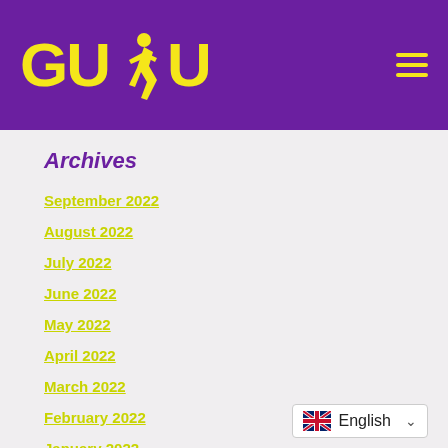[Figure (logo): GUDU logo with yellow text and a running figure silhouette on purple background, with hamburger menu icon]
Archives
September 2022
August 2022
July 2022
June 2022
May 2022
April 2022
March 2022
February 2022
January 2022
December 2021
November 2021
English (language selector)